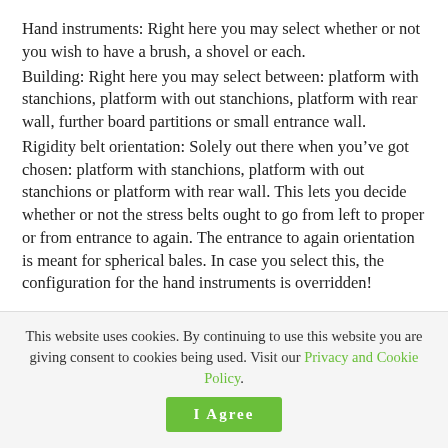Hand instruments: Right here you may select whether or not you wish to have a brush, a shovel or each. Building: Right here you may select between: platform with stanchions, platform with out stanchions, platform with rear wall, further board partitions or small entrance wall. Rigidity belt orientation: Solely out there when you've got chosen: platform with stanchions, platform with out stanchions or platform with rear wall. This lets you decide whether or not the stress belts ought to go from left to proper or from entrance to again. The entrance to again orientation is meant for spherical bales. In case you select this, the configuration for the hand instruments is overridden!
This website uses cookies. By continuing to use this website you are giving consent to cookies being used. Visit our Privacy and Cookie Policy.